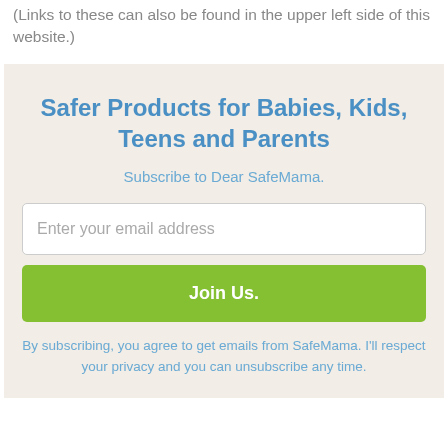(Links to these can also be found in the upper left side of this website.)
Safer Products for Babies, Kids, Teens and Parents
Subscribe to Dear SafeMama.
Enter your email address
Join Us.
By subscribing, you agree to get emails from SafeMama. I'll respect your privacy and you can unsubscribe any time.